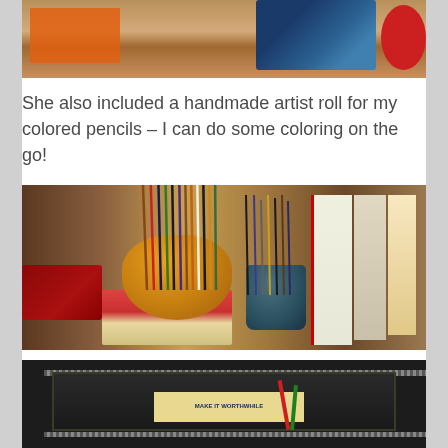[Figure (photo): Top portion of a photo showing art supplies including an orange item, colorful fabric/paper with blue circles, and red objects on a wooden surface]
She also included a handmade artist roll for my colored pencils – I can do some coloring on the go!
[Figure (photo): Photo of a desk with a yellow bowl full of colored pencils stacked on books, a blue ceramic jar with more pencils/brushes, several books including 'Eats Shoots & Leaves' and 'Secrets of Story', and a red decorative box on a dark wood surface]
[Figure (photo): Bottom portion of a photo showing a handmade artist roll/pencil case with zipper edges, labeled 'MAKE IT WORTHWHILE', with colored pencils visible inside, on a dark surface]